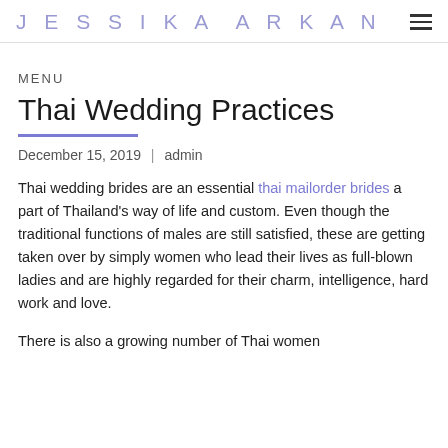JESSIKA ARKAN
MENU
Thai Wedding Practices
December 15, 2019 | admin
Thai wedding brides are an essential thai mailorder brides a part of Thailand's way of life and custom. Even though the traditional functions of males are still satisfied, these are getting taken over by simply women who lead their lives as full-blown ladies and are highly regarded for their charm, intelligence, hard work and love.
There is also a growing number of Thai women